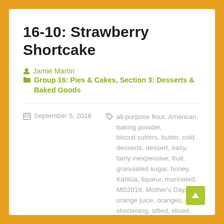16-10: Strawberry Shortcake
Jamie Martin   Group 16: Pies & Cakes, Section 3: Desserts & Baked Goods
September 5, 2018   all-purpose flour, American, baking powder, biscuit cutters, butter, cold desserts, dessert, easy, fairly inexpensive, fruit, granulated sugar, honey, Kahlúa, liqueur, marinated, MD2018, Mother's Day, orange juice, oranges, salt, shortening, sifted, sliced, soaked, sour cream, strawberries, summer, untested, vegetarian, whipped, whipping cream, zested